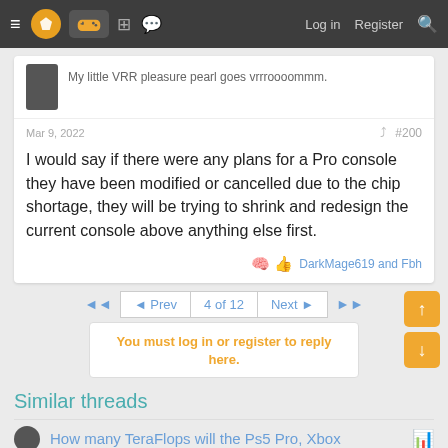Navigation bar with menu, logo, controller icon, forum icons, Log in, Register, Search
My little VRR pleasure pearl goes vrrroooommm.
Mar 9, 2022  #200
I would say if there were any plans for a Pro console they have been modified or cancelled due to the chip shortage, they will be trying to shrink and redesign the current console above anything else first.
DarkMage619 and Fbh
◄◄  ◄ Prev  4 of 12  Next ►  ►►
You must log in or register to reply here.
Similar threads
How many TeraFlops will the Ps5 Pro, Xbox